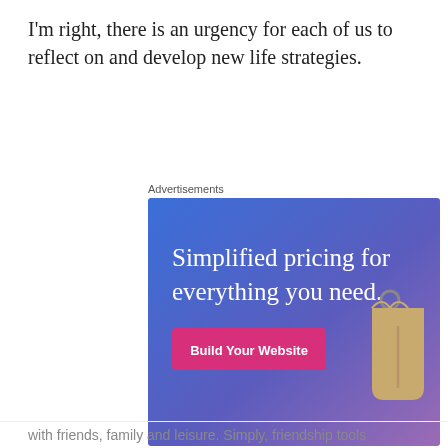I'm right, there is an urgency for each of us to reflect on and develop new life strategies.
Advertisements
[Figure (illustration): Advertisement banner with gradient blue-purple background showing text 'Simplified pricing for everything you need.' with a pink 'Build Your Website' button and a tan price tag graphic on the right.]
Privacy & Cookies: This site uses cookies. By continuing to use this website, you agree to their use.
To find out more, including how to control cookies, see here: Cookie Policy
with friends, family and leisure. Simply, friendship tools